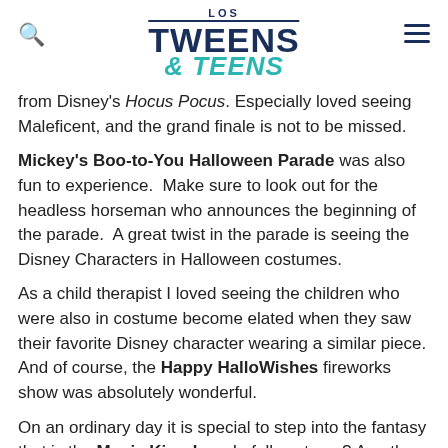LOS TWEENS & TEENS
from Disney's Hocus Pocus. Especially loved seeing Maleficent, and the grand finale is not to be missed.
Mickey's Boo-to-You Halloween Parade was also fun to experience. Make sure to look out for the headless horseman who announces the beginning of the parade. A great twist in the parade is seeing the Disney Characters in Halloween costumes.
As a child therapist I loved seeing the children who were also in costume become elated when they saw their favorite Disney character wearing a similar piece. And of course, the Happy HalloWishes fireworks show was absolutely wonderful.
On an ordinary day it is special to step into the fantasy that is the Magic Kingdom. In full costume? An other-worldly experience. From Tomorrow Land to